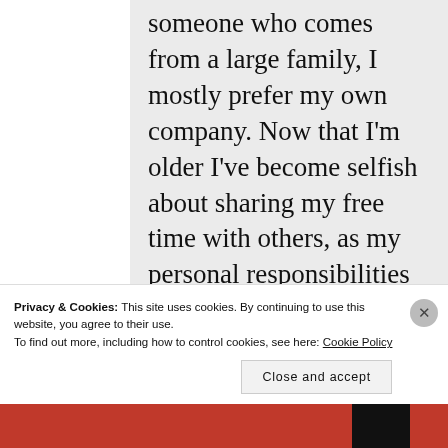someone who comes from a large family, I mostly prefer my own company. Now that I'm older I've become selfish about sharing my free time with others, as my personal responsibilities leave me with little time for myself and I guard it jealously. I realise I do have to find a balance
Privacy & Cookies: This site uses cookies. By continuing to use this website, you agree to their use.
To find out more, including how to control cookies, see here: Cookie Policy
Close and accept